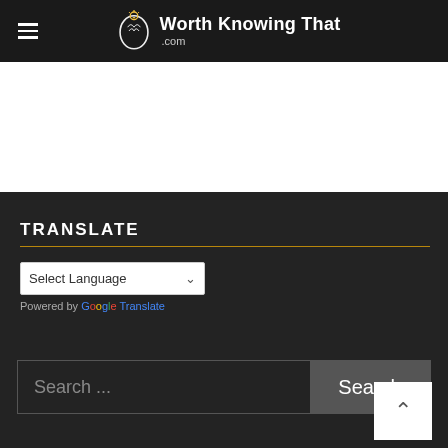Worth Knowing That .com
[Figure (other): White banner/advertisement area]
TRANSLATE
Select Language  (dropdown)
Powered by Google Translate